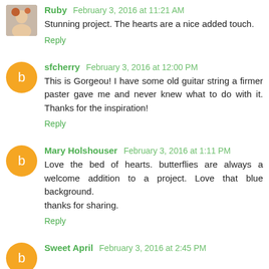Ruby February 3, 2016 at 11:21 AM
Stunning project. The hearts are a nice added touch.
Reply
sfcherry February 3, 2016 at 12:00 PM
This is Gorgeou! I have some old guitar string a firmer paster gave me and never knew what to do with it. Thanks for the inspiration!
Reply
Mary Holshouser February 3, 2016 at 1:11 PM
Love the bed of hearts. butterflies are always a welcome addition to a project. Love that blue background.
thanks for sharing.
Reply
Sweet April February 3, 2016 at 2:45 PM